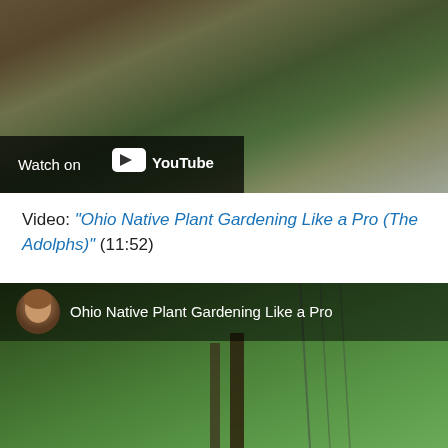[Figure (screenshot): YouTube video thumbnail showing potted plants on a shelf with 'Watch on YouTube' overlay badge at bottom left]
Video: “Ohio Native Plant Gardening Like a Pro (The Adolphs)” (11:52)
[Figure (screenshot): YouTube video thumbnail for 'Ohio Native Plant Gardening Like a Pro' showing garden with chain-link fence and trees, user avatar in top left corner]